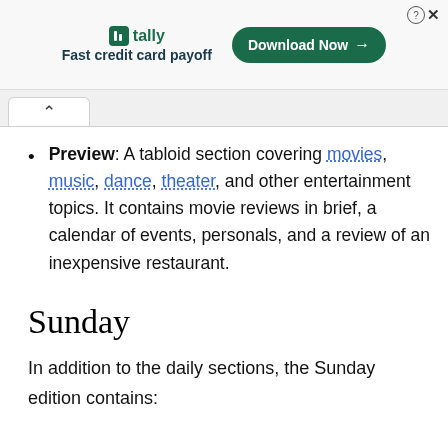[Figure (other): Tally advertisement banner with logo, 'Fast credit card payoff' tagline, and a 'Download Now' button. Close and help icons in top-right corner.]
Preview: A tabloid section covering movies, music, dance, theater, and other entertainment topics. It contains movie reviews in brief, a calendar of events, personals, and a review of an inexpensive restaurant.
Sunday
In addition to the daily sections, the Sunday edition contains: